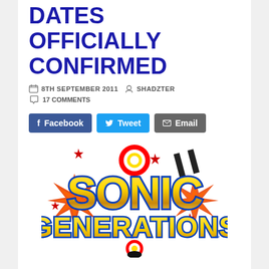DATES OFFICIALLY CONFIRMED
8TH SEPTEMBER 2011   SHADZTER
17 COMMENTS
[Figure (other): Social sharing buttons: Facebook, Tweet, Email]
[Figure (logo): Sonic Generations logo with colorful explosion design]
SEGA has officially confirmed the European and Australian release dates for the PS3 and Xbox